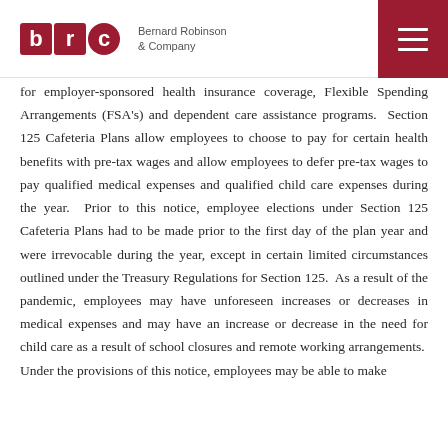Bernard Robinson & Company
for employer-sponsored health insurance coverage, Flexible Spending Arrangements (FSA's) and dependent care assistance programs. Section 125 Cafeteria Plans allow employees to choose to pay for certain health benefits with pre-tax wages and allow employees to defer pre-tax wages to pay qualified medical expenses and qualified child care expenses during the year. Prior to this notice, employee elections under Section 125 Cafeteria Plans had to be made prior to the first day of the plan year and were irrevocable during the year, except in certain limited circumstances outlined under the Treasury Regulations for Section 125. As a result of the pandemic, employees may have unforeseen increases or decreases in medical expenses and may have an increase or decrease in the need for child care as a result of school closures and remote working arrangements. Under the provisions of this notice, employees may be able to make